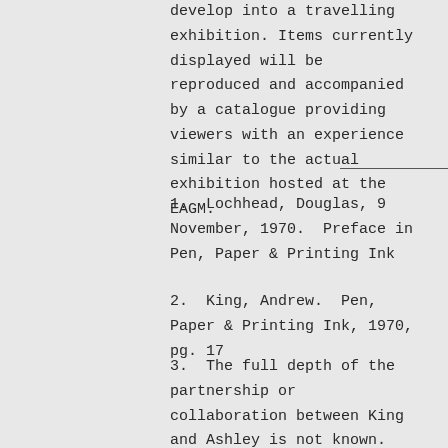develop into a travelling exhibition. Items currently displayed will be reproduced and accompanied by a catalogue providing viewers with an experience similar to the actual exhibition hosted at the EAGM.
1.  Lochhead, Douglas, 9 November, 1970.  Preface in Pen, Paper & Printing Ink
2.  King, Andrew.  Pen, Paper & Printing Ink, 1970, pg. 17
3.  The full depth of the partnership or collaboration between King and Ashley is not known.  King acknowledges his working relationship with Ashley in his